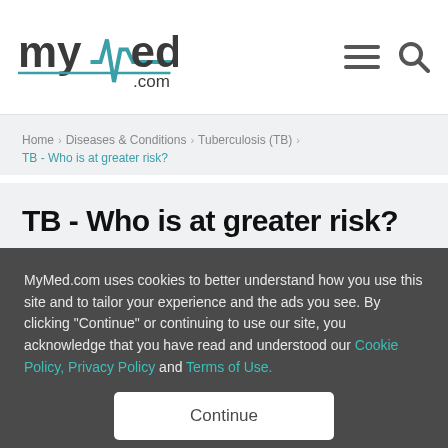myMed.com
Home > Diseases & Conditions > Tuberculosis (TB) > TB - Who is at greater risk?
TB - Who is at greater risk?
MyMed.com uses cookies to better understand how you use this site and to tailor your experience and the ads you see. By clicking "Continue" or continuing to use our site, you acknowledge that you have read and understood our Cookie Policy, Privacy Policy and Terms of Use.
Continue